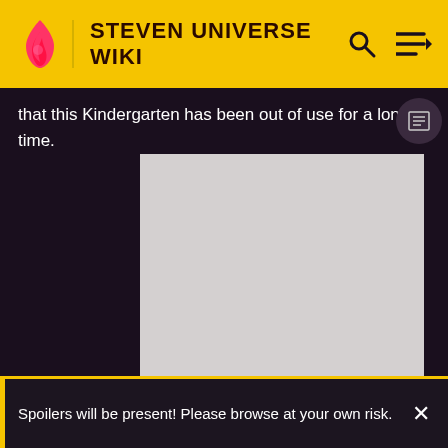STEVEN UNIVERSE WIKI
that this Kindergarten has been out of use for a long time.
[Figure (other): Gray advertisement placeholder rectangle]
ADVERTISEMENT
Spoilers will be present! Please browse at your own risk.